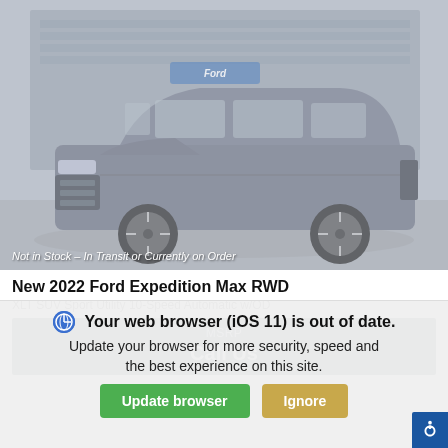[Figure (photo): Gray Ford Expedition Max RWD SUV parked in a lot with a Ford dealership building in the background. Image is slightly washed out/desaturated.]
Not in Stock - In Transit or Currently on Order
New 2022 Ford Expedition Max RWD
XLT SUV Sport Utility 10-Speed Automatic w/OD
MSRP
Call Us
Your web browser (iOS 11) is out of date. Update your browser for more security, speed and the best experience on this site.
Update browser    Ignore